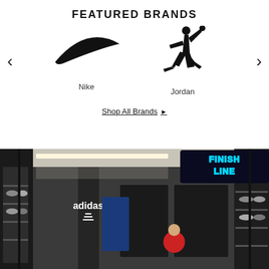FEATURED BRANDS
[Figure (logo): Nike swoosh logo in black]
Nike
[Figure (logo): Jordan Jumpman logo in black]
Jordan
Shop All Brands ▶
[Figure (photo): Finish Line store front exterior with neon FINISH LINE sign, shoes displayed on walls, Adidas logo visible, shoppers inside]